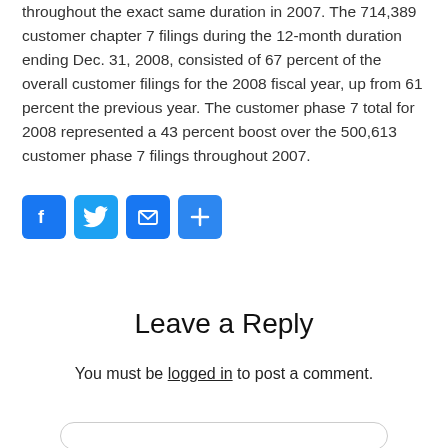throughout the exact same duration in 2007. The 714,389 customer chapter 7 filings during the 12-month duration ending Dec. 31, 2008, consisted of 67 percent of the overall customer filings for the 2008 fiscal year, up from 61 percent the previous year. The customer phase 7 total for 2008 represented a 43 percent boost over the 500,613 customer phase 7 filings throughout 2007.
[Figure (infographic): Social share buttons: Facebook, Twitter, Email, Share (plus icon)]
Leave a Reply
You must be logged in to post a comment.